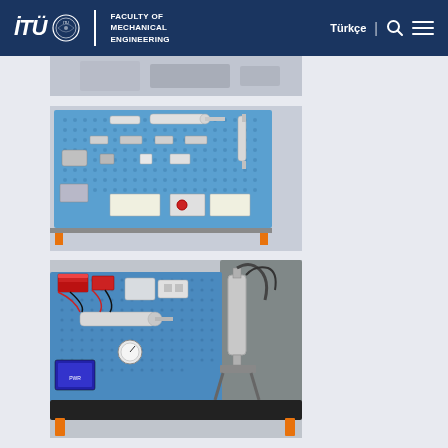İTÜ Faculty of Mechanical Engineering — Türkçe | Search | Menu
[Figure (photo): Partial view of a laboratory equipment or machine (top, cropped)]
[Figure (photo): Pneumatic training board mounted on a blue pegboard panel, showing various pneumatic components including cylinders, valves, and control panels arranged for laboratory demonstrations]
[Figure (photo): Hydraulic training setup on a blue pegboard panel with hydraulic cylinders, tubing, electronic components, valves, and a vertical hydraulic cylinder on the right side, all mounted on a black base tray]